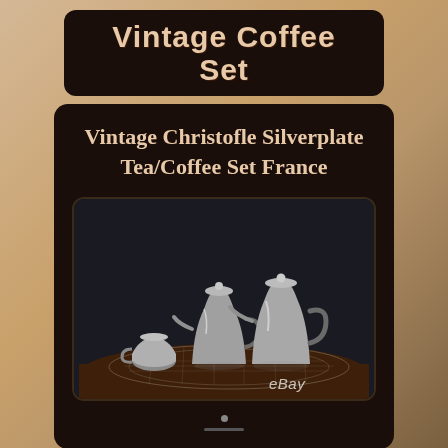Vintage Coffee Set
Vintage Christofle Silverplate Tea/Coffee Set France
[Figure (photo): Photograph of a vintage Christofle silverplate tea/coffee set consisting of multiple silver pots and a creamer arranged on a decorative mesh doily on a dark wooden table. eBay watermark visible at bottom right.]